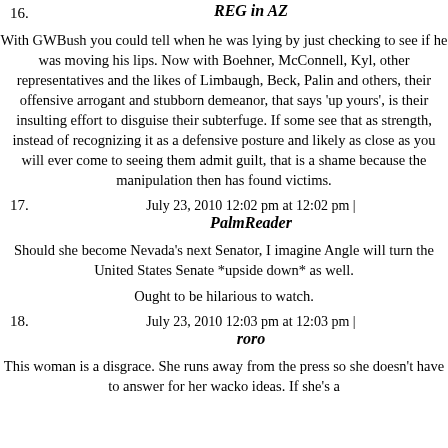16. REG in AZ
With GWBush you could tell when he was lying by just checking to see if he was moving his lips. Now with Boehner, McConnell, Kyl, other representatives and the likes of Limbaugh, Beck, Palin and others, their offensive arrogant and stubborn demeanor, that says 'up yours', is their insulting effort to disguise their subterfuge. If some see that as strength, instead of recognizing it as a defensive posture and likely as close as you will ever come to seeing them admit guilt, that is a shame because the manipulation then has found victims.
July 23, 2010 12:02 pm at 12:02 pm |
17. PalmReader
Should she become Nevada's next Senator, I imagine Angle will turn the United States Senate *upside down* as well.
Ought to be hilarious to watch.
July 23, 2010 12:03 pm at 12:03 pm |
18. roro
This woman is a disgrace. She runs away from the press so she doesn't have to answer for her wacko ideas. If she's a